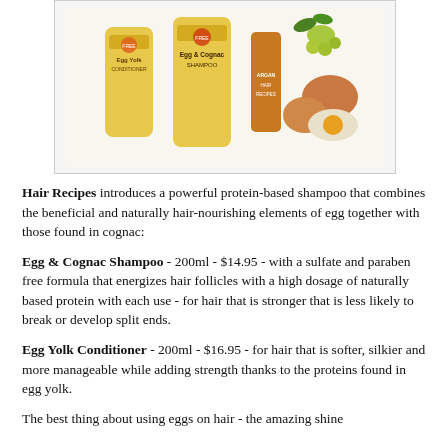[Figure (photo): Product photo showing Hair Recipes hair product bottles (Egg Yolk Conditioner, Egg & Cognac Shampoo, Argan oil serum) alongside eggs and grapes on a white background.]
Hair Recipes introduces a powerful protein-based shampoo that combines the beneficial and naturally hair-nourishing elements of egg together with those found in cognac:
Egg & Cognac Shampoo - 200ml - $14.95 - with a sulfate and paraben free formula that energizes hair follicles with a high dosage of naturally based protein with each use - for hair that is stronger that is less likely to break or develop split ends.
Egg Yolk Conditioner - 200ml - $16.95 - for hair that is softer, silkier and more manageable while adding strength thanks to the proteins found in egg yolk.
The best thing about using eggs on hair - the amazing shine